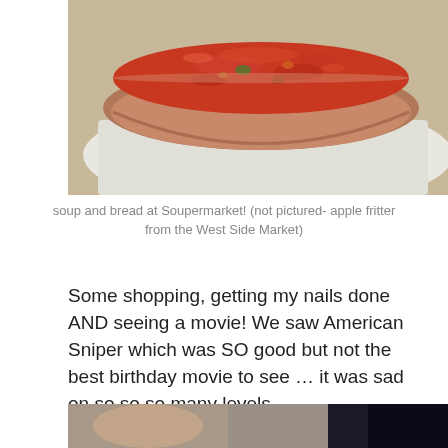[Figure (photo): A plastic bowl or container filled with red tomato soup, sitting on a white paper napkin on a light surface. The soup appears thick and chunky with visible vegetable pieces.]
soup and bread at Soupermarket! (not pictured- apple fritter from the West Side Market)
Some shopping, getting my nails done AND seeing a movie! We saw American Sniper which was SO good but not the best birthday movie to see … it was sad on so so so many levels.
[Figure (photo): Partial photo of people, cropped at the bottom of the page. Shows faces and what appears to be an outdoor or indoor setting.]